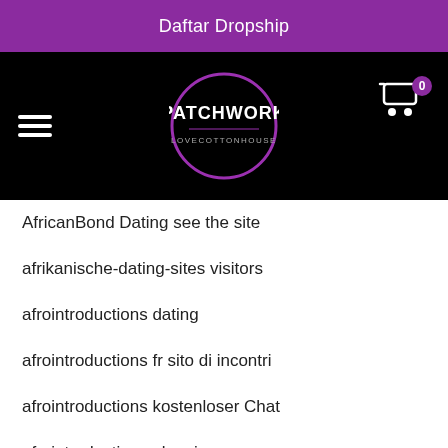Daftar Dropship
[Figure (logo): Patchwork Lovecottonhouse logo — circular purple-outlined logo with PATCHWORK text above LOVECOTTONHOUSE on black navigation bar with hamburger menu and cart icon]
AfricanBond Dating see the site
afrikanische-dating-sites visitors
afrointroductions dating
afrointroductions fr sito di incontri
afrointroductions kostenloser Chat
afrointroductions pl review
afrointroductions seiten
afrointroductions sito di incontri